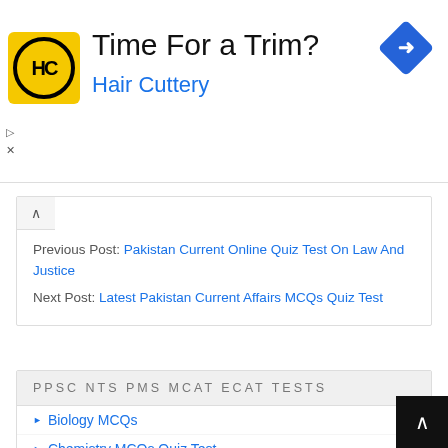[Figure (infographic): Hair Cuttery advertisement banner with yellow logo showing HC letters in a circle, tagline 'Time For a Trim?' and blue navigation arrow icon in top right]
Previous Post: Pakistan Current Online Quiz Test On Law And Justice
Next Post: Latest Pakistan Current Affairs MCQs Quiz Test
PPSC NTS PMS MCAT ECAT TESTS
Biology MCQs
Chemistry MCQs Quiz Test
Computer Science MCQs Quiz Test